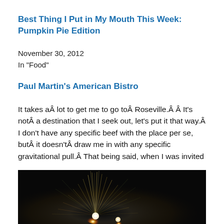Best Thing I Put in My Mouth This Week: Pumpkin Pie Edition
November 30, 2012
In "Food"
Paul Martin's American Bistro
It takes aÂ lot to get me to go toÂ Roseville.Â Â It's notÂ a destination that I seek out, let's put it that way.Â I don't have any specific beef with the place per se, butÂ it doesn'tÂ draw me in with any specific gravitational pull.Â  That being said, when I was invited
December 19, 2007
In "Food"
[Figure (photo): Fireworks burst against a dark night sky, showing bright light radiating outward with colorful sparks]